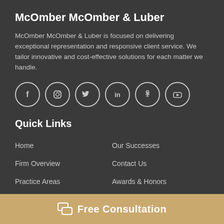McOmber McOmber & Luber
McOmber McOmber & Luber is focused on delivering exceptional representation and responsive client service. We tailor innovative and cost-effective solutions for each matter we handle.
[Figure (other): Row of 6 social media icons in circles: Facebook, Instagram, Twitter, LinkedIn, Yelp, YouTube]
Quick Links
Home
Our Successes
Firm Overview
Contact Us
Practice Areas
Awards & Honors
Team
Civil Certified Attorney
Free Consultation